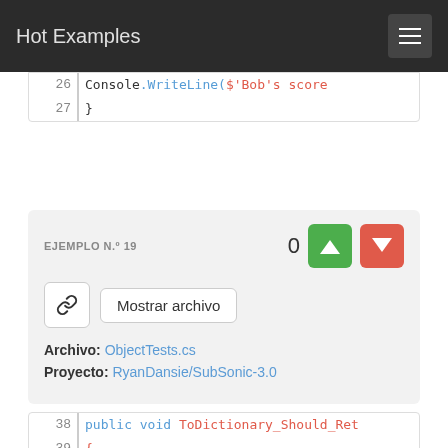Hot Examples
[Figure (screenshot): Code snippet lines 26-27 showing Console.WriteLine and closing brace]
EJEMPLO N.º 19
Archivo: ObjectTests.cs
Proyecto: RyanDansie/SubSonic-3.0
[Figure (screenshot): Code snippet lines 38-40 showing public void ToDictionary_Should_Ret, {, var tester = new]